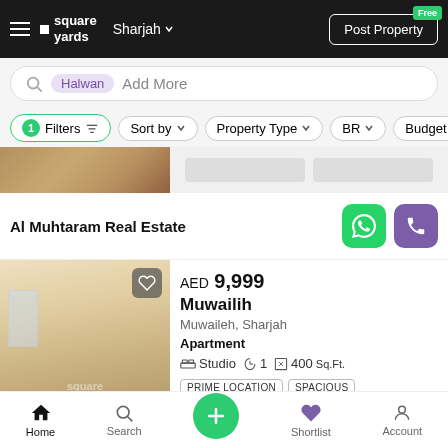square yards  Sharjah  Post Property Free
Halwan  Add More
1 Filters  Sort by  Property Type  BR  Budget
[Figure (photo): Partial view of a room interior with a floor and some items]
Al Muhtaram Real Estate
[Figure (photo): Interior photo of an empty apartment room with white walls and a window]
AED 9,999
Muwailih
Muwaileh, Sharjah
Apartment
Studio  1  400Sq.Ft.
PRIME LOCATION  SPACIOUS  AFFORDABLE
Home  Search  +  Shortlist  Account